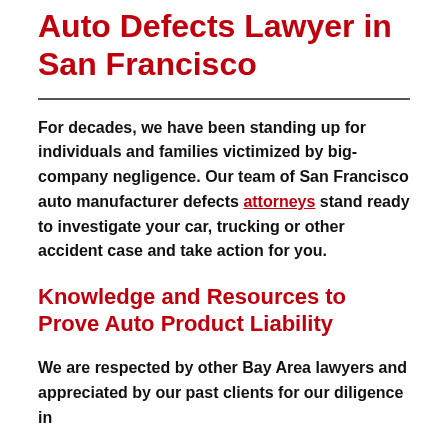Auto Defects Lawyer in San Francisco
For decades, we have been standing up for individuals and families victimized by big-company negligence. Our team of San Francisco auto manufacturer defects attorneys stand ready to investigate your car, trucking or other accident case and take action for you.
Knowledge and Resources to Prove Auto Product Liability
We are respected by other Bay Area lawyers and appreciated by our past clients for our diligence in